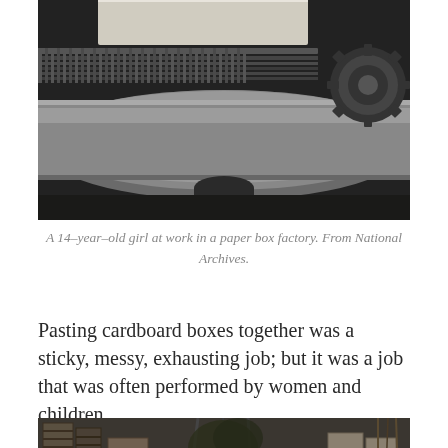[Figure (photo): Black and white close-up photograph of industrial printing or manufacturing machine components — large metal cylinders, gears, rollers and mechanical parts. A white piece of paper is partially visible at the top.]
A 14–year–old girl at work in a paper box factory. From National Archives.
Pasting cardboard boxes together was a sticky, messy, exhausting job; but it was a job that was often performed by women and children.
[Figure (photo): Black and white photograph showing a factory or warehouse interior with wooden crates, stacked boxes, and structural beams visible.]